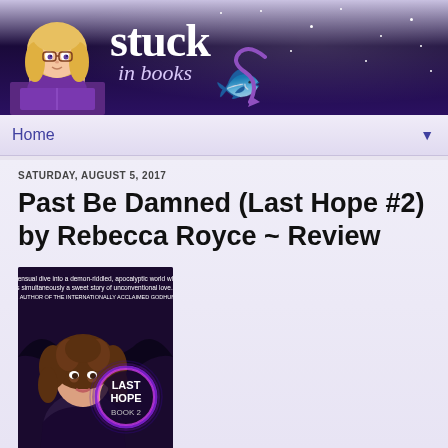[Figure (screenshot): Blog header for 'Stuck in Books' with dark starry night background, cartoon avatar of a girl reading, and decorative tail/swirl graphic]
Home ▼
SATURDAY, AUGUST 5, 2017
Past Be Damned (Last Hope #2) by Rebecca Royce ~ Review
[Figure (photo): Book cover for 'Last Hope Book 2' featuring a young woman with curly hair, a glowing purple circle logo with 'LAST HOPE BOOK 2' text, and a dark bat/creature silhouette background. Blurb at top reads: 'A sensual dive into a demon-riddled, apocalyptic world which is simultaneously a sweet story of unconventional love.' - AMY SUMIDA, AUTHOR OF THE INTERNATIONALLY ACCLAIMED GODHUNTER SERIES]